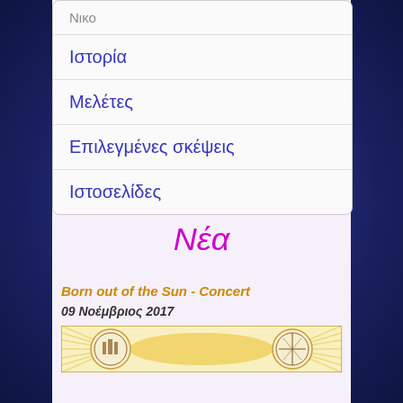Νικο
Ιστορία
Μελέτες
Επιλεγμένες σκέψεις
Ιστοσελίδες
Νέα
Born out of the Sun - Concert
09 Νοέμβριος 2017
[Figure (illustration): Concert banner image with sun and architectural motifs in gold and white tones]